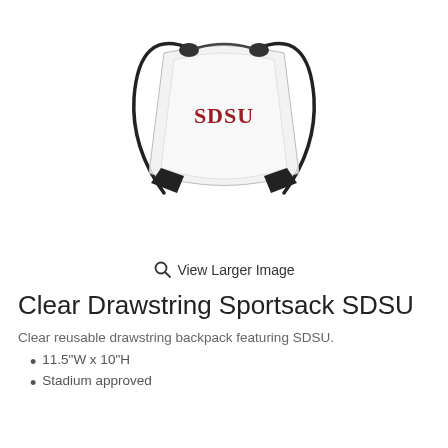[Figure (photo): Clear drawstring sportsack bag with SDSU text in red on the front, black drawstrings and corner reinforcements]
View Larger Image
Clear Drawstring Sportsack SDSU
Clear reusable drawstring backpack featuring SDSU.
11.5"W x 10"H
Stadium approved